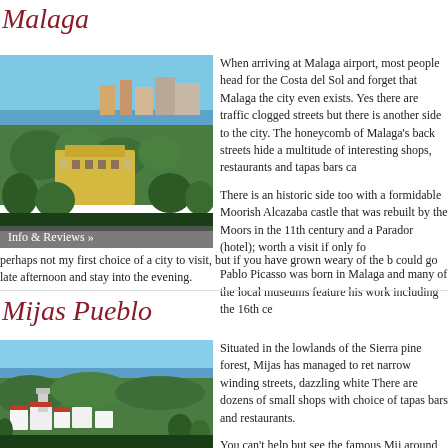Malaga
[Figure (photo): Aerial view of Malaga city showing buildings, parks, and coastline]
Info & Reviews »
When arriving at Malaga airport, most people head for the Costa del Sol and forget that Malaga the city even exists. Yes there are traffic clogged streets but there is another side to the city. The honeycomb of Malaga's back streets hide a multitude of interesting shops, restaurants and tapas bars ca
There is an historic side too with a formidable Moorish Alcazaba castle that was rebuilt by the Moors in the 11th century and a Parador (hotel); worth a visit if only fo
Pablo Picasso was born in Malaga and many of the local museums feature his work including the 16th ce
perhaps not my first choice of a city to visit, but if you have grown weary of the b could go late afternoon and stay into the evening.
Mijas Pueblo
[Figure (photo): View of Mijas Pueblo village with white buildings, church tower, and surrounding greenery]
Situated in the lowlands of the Sierra pine forest, Mijas has managed to ret narrow winding streets, dazzling white There are dozens of small shops with choice of tapas bars and restaurants.
You can't help but see the famous Mij around the village every day - they m Spain! Mijas is one of the friendliest